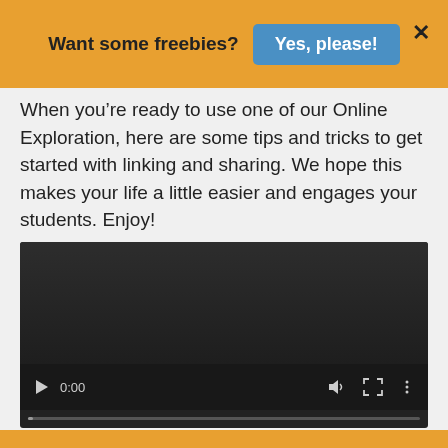Want some freebies?  Yes, please!  ×
When you're ready to use one of our Online Exploration, here are some tips and tricks to get started with linking and sharing. We hope this makes your life a little easier and engages your students. Enjoy!
[Figure (screenshot): Embedded video player with dark background, play button, 0:00 timestamp, volume, fullscreen and more controls, and a progress bar at the bottom.]